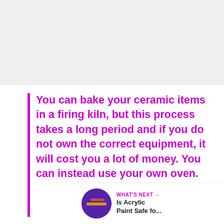You can bake your ceramic items in a firing kiln, but this process takes a long period and if you do not own the correct equipment, it will cost you a lot of money. You can instead use your own oven.
[Figure (infographic): Like button (heart icon) with count of 1, and share button, on the right side of the page]
[Figure (infographic): What's Next panel at the bottom right with circular thumbnail and text 'Is Acrylic Paint Safe fo...']